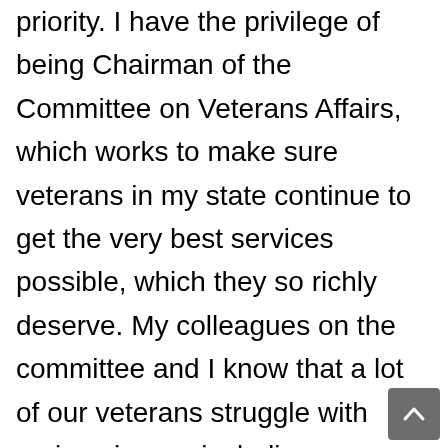priority. I have the privilege of being Chairman of the Committee on Veterans Affairs, which works to make sure veterans in my state continue to get the very best services possible, which they so richly deserve. My colleagues on the committee and I know that a lot of our veterans struggle with serious issues including substance abuse, and mental and physical health problems. I am proud to say that Massachusetts is number one in the nation in the services and benefits we provide to veterans, and we will